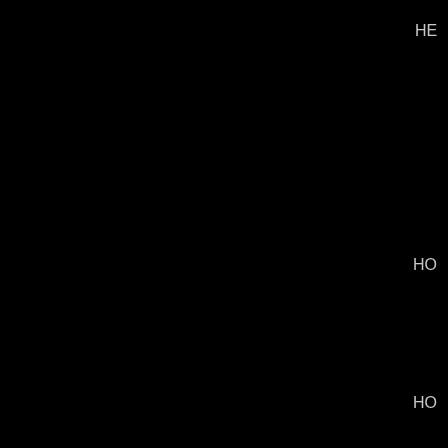[Figure (other): Mostly black image/diagram with partial text labels visible at the right edge: 'HE' near the top, 'HO' in the middle, and 'HO' near the bottom. The content is largely obscured by the dark background, suggesting a molecular or chemical structure diagram with labels cut off at the right margin.]